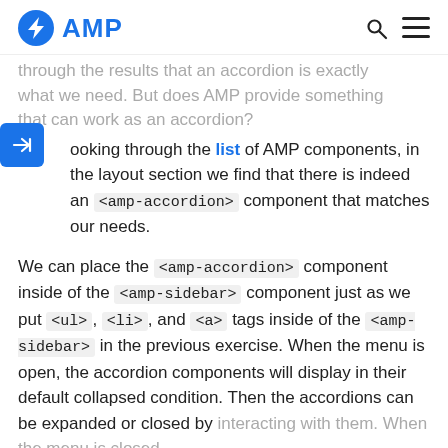AMP
through the results that an accordion is exactly what we need. But does AMP provide something that can work as an accordion?
Looking through the list of AMP components, in the layout section we find that there is indeed an <amp-accordion> component that matches our needs.
We can place the <amp-accordion> component inside of the <amp-sidebar> component just as we put <ul>, <li>, and <a> tags inside of the <amp-sidebar> in the previous exercise. When the menu is open, the accordion components will display in their default collapsed condition. Then the accordions can be expanded or closed by interacting with them. When the menu is closed